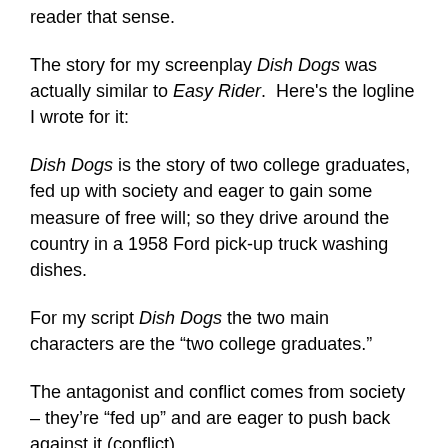reader that sense.
The story for my screenplay Dish Dogs was actually similar to Easy Rider.  Here's the logline I wrote for it:
Dish Dogs is the story of two college graduates, fed up with society and eager to gain some measure of free will; so they drive around the country in a 1958 Ford pick-up truck washing dishes.
For my script Dish Dogs the two main characters are the “two college graduates.”
The antagonist and conflict comes from society – they’re “fed up” and are eager to push back against it (conflict).
The genre, like Easy Rider, is a road buddy movie but much more lighthearted.  The main characters are